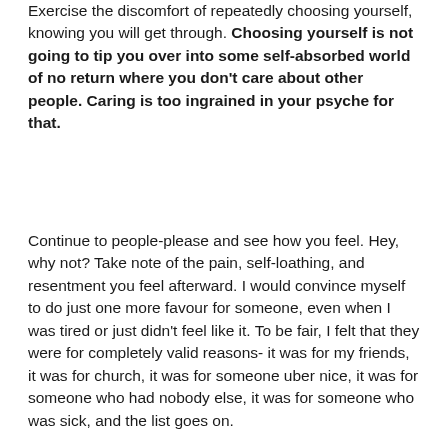Exercise the discomfort of repeatedly choosing yourself, knowing you will get through. Choosing yourself is not going to tip you over into some self-absorbed world of no return where you don't care about other people. Caring is too ingrained in your psyche for that.
Continue to people-please and see how you feel. Hey, why not? Take note of the pain, self-loathing, and resentment you feel afterward. I would convince myself to do just one more favour for someone, even when I was tired or just didn't feel like it. To be fair, I felt that they were for completely valid reasons- it was for my friends, it was for church, it was for someone uber nice, it was for someone who had nobody else, it was for someone who was sick, and the list goes on.